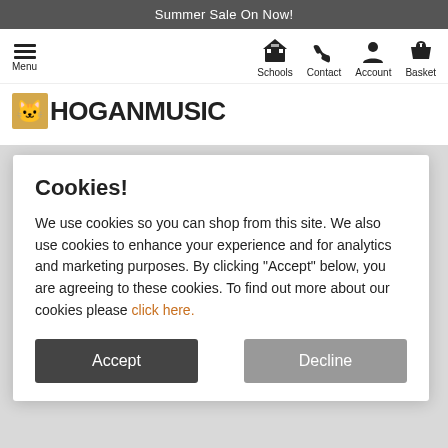Summer Sale On Now!
[Figure (screenshot): Navigation bar with hamburger Menu icon, and icons for Schools, Contact, Account, Basket]
[Figure (logo): Hogan Music logo with cat graphic]
Cookies!
We use cookies so you can shop from this site. We also use cookies to enhance your experience and for analytics and marketing purposes. By clicking "Accept" below, you are agreeing to these cookies. To find out more about our cookies please click here.
Accept
Decline